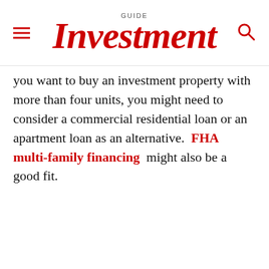GUIDE Investment
you want to buy an investment property with more than four units, you might need to consider a commercial residential loan or an apartment loan as an alternative. FHA multi-family financing might also be a good fit.